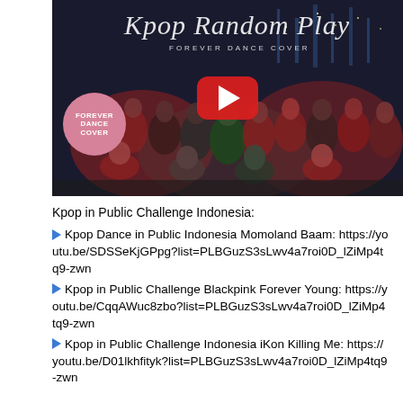[Figure (photo): YouTube video thumbnail showing a group of young women posing outdoors at night with a city skyline background. The thumbnail has a 'FOREVER DANCE COVER' subtitle and shows the YouTube play button. A pink circle badge with 'FOREVER' text is visible on the lower left.]
Kpop in Public Challenge Indonesia:
▶ Kpop Dance in Public Indonesia Momoland Baam: https://youtu.be/SDSSeKjGPpg?list=PLBGuzS3sLwv4a7roi0D_lZiMp4tq9-zwn
▶ Kpop in Public Challenge Blackpink Forever Young: https://youtu.be/CqqAWuc8zbo?list=PLBGuzS3sLwv4a7roi0D_lZiMp4tq9-zwn
▶ Kpop in Public Challenge Indonesia iKon Killing Me: https://youtu.be/D01lkhfityk?list=PLBGuzS3sLwv4a7roi0D_lZiMp4tq9-zwn